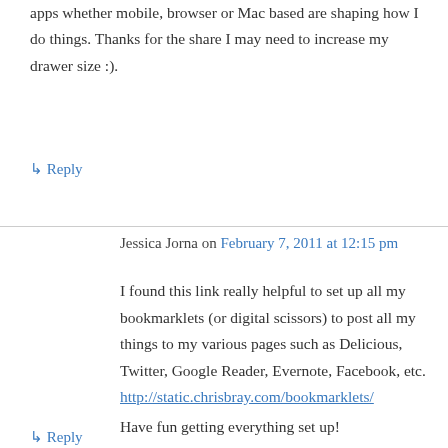apps whether mobile, browser or Mac based are shaping how I do things. Thanks for the share I may need to increase my drawer size :).
↳ Reply
Jessica Jorna on February 7, 2011 at 12:15 pm
I found this link really helpful to set up all my bookmarklets (or digital scissors) to post all my things to my various pages such as Delicious, Twitter, Google Reader, Evernote, Facebook, etc.
http://static.chrisbray.com/bookmarklets/
Have fun getting everything set up!
↳ Reply